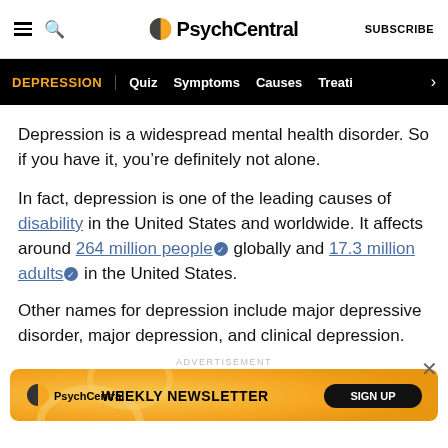PsychCentral | SUBSCRIBE
DEPRESSION | Quiz | Symptoms | Causes | Treati >
Depression is a widespread mental health disorder. So if you have it, you’re definitely not alone.
In fact, depression is one of the leading causes of disability in the United States and worldwide. It affects around 264 million people globally and 17.3 million adults in the United States.
Other names for depression include major depressive disorder, major depression, and clinical depression.
ADVERTISEMENT
[Figure (other): PsychCentral Weekly Newsletter advertisement banner with orange/yellow swirl background and SIGN UP button]